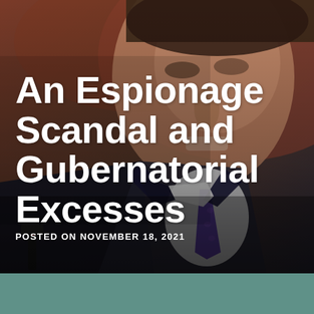[Figure (photo): Close-up photo of a man in a dark suit with a purple tie, speaking at a microphone. The background has brownish-red tones. The image serves as the background for the article title card.]
An Espionage Scandal and Gubernatorial Excesses
POSTED ON NOVEMBER 18, 2021